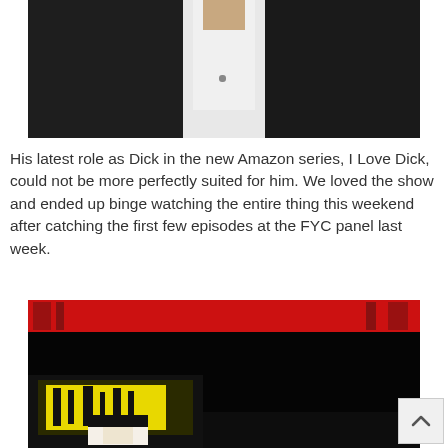[Figure (photo): Close-up photo of a man in a dark jacket and white open-collar shirt, cropped to show torso and lower face/neck area.]
His latest role as Dick in the new Amazon series, I Love Dick, could not be more perfectly suited for him. We loved the show and ended up binge watching the entire thing this weekend after catching the first few episodes at the FYC panel last week.
[Figure (photo): Dark image with a red border/frame at the top and a partially visible illustration in the lower left showing yellow and black colors, likely a comic or graphic art image.]